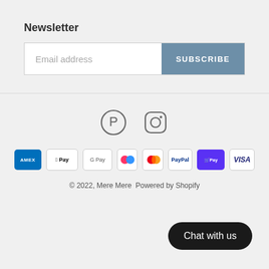Newsletter
Email address
SUBSCRIBE
[Figure (illustration): Pinterest and Instagram social media icons]
[Figure (illustration): Payment method icons: American Express, Apple Pay, Google Pay, Klarna, Mastercard, PayPal, Shop Pay, Visa]
© 2022, Mere Mere  Powered by Shopify
Chat with us